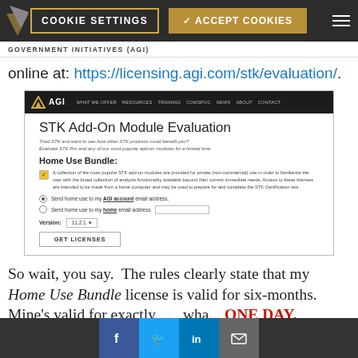COOKIE SETTINGS | ✓ ACCEPT COOKIES
GOVERNMENT INITIATIVES (AGI)
online at: https://licensing.agi.com/stk/evaluation/.
[Figure (screenshot): Screenshot of AGI website showing STK Add-On Module Evaluation page with Home Use Bundle section, checkboxes, radio buttons for email address options, version selector showing 11.2.1, and GET LICENSES button]
So wait, you say.  The rules clearly state that my Home Use Bundle license is valid for six-months.  Mine's valid for exactly . . . wha... ONE DAY. Whyyyyyyyyyyyyy...